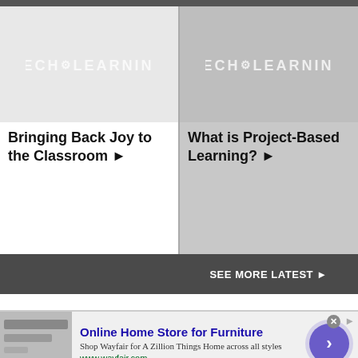[Figure (screenshot): Tech & Learning logo placeholder image for article 'Bringing Back Joy to the Classroom']
Bringing Back Joy to the Classroom ▶
[Figure (screenshot): Tech & Learning logo placeholder image for article 'What is Project-Based Learning?']
What is Project-Based Learning? ▶
SEE MORE LATEST ▶
Online Home Store for Furniture
Shop Wayfair for A Zillion Things Home across all styles
www.wayfair.com